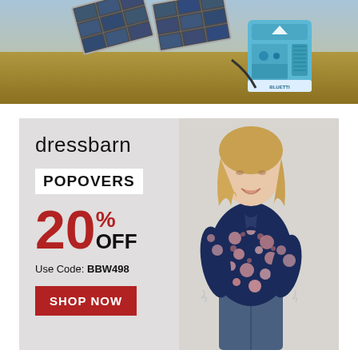[Figure (photo): Solar panel with blue portable power station on grass/hay background]
[Figure (photo): Dressbarn advertisement with woman wearing floral navy popover blouse and jeans]
dressbarn
POPOVERS
20% OFF
Use Code: BBW498
SHOP NOW